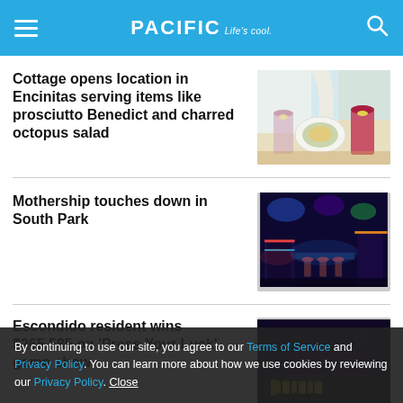PACIFIC Life's cool.
Cottage opens location in Encinitas serving items like prosciutto Benedict and charred octopus salad
[Figure (photo): Food photo showing drinks and a salad plate by a window]
Mothership touches down in South Park
[Figure (photo): Dark bar/venue interior with colorful neon lighting]
Escondido resident wins $265,585 on 'Press Your Luck' game show
[Figure (photo): Dark venue photo with a scoreboard showing $215,685]
By continuing to use our site, you agree to our Terms of Service and Privacy Policy. You can learn more about how we use cookies by reviewing our Privacy Policy. Close